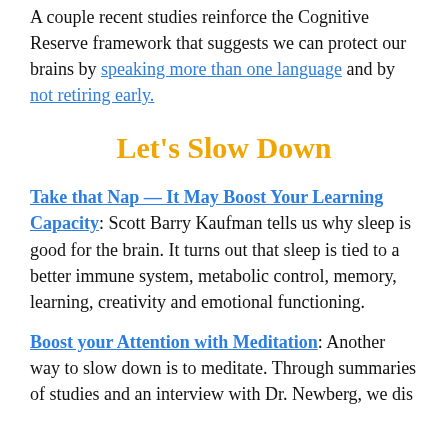A couple recent studies reinforce the Cognitive Reserve framework that suggests we can protect our brains by speaking more than one language and by not retiring early.
Let's Slow Down
Take that Nap — It May Boost Your Learning Capacity: Scott Barry Kaufman tells us why sleep is good for the brain. It turns out that sleep is tied to a better immune system, metabolic control, memory, learning, creativity and emotional functioning.
Boost your Attention with Meditation: Another way to slow down is to meditate. Through summaries of studies and an interview with Dr. Newberg, we dis